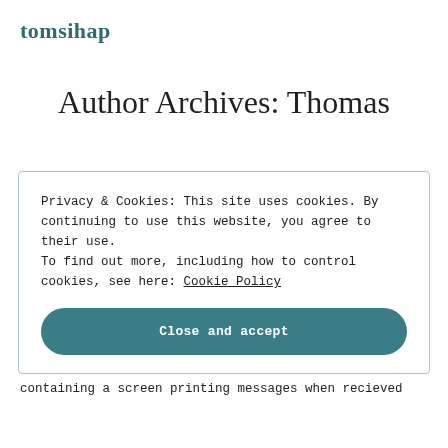tomsihap
Author Archives: Thomas
Privacy & Cookies: This site uses cookies. By continuing to use this website, you agree to their use.
To find out more, including how to control cookies, see here: Cookie Policy

[Close and accept]
containing a screen printing messages when recieved